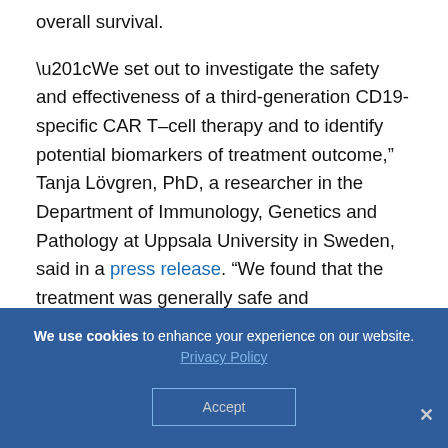overall survival.
“We set out to investigate the safety and effectiveness of a third-generation CD19-specific CAR T–cell therapy and to identify potential biomarkers of treatment outcome,” Tanja Lövgren, PhD, a researcher in the Department of Immunology, Genetics and Pathology at Uppsala University in Sweden, said in a press release. “We found that the treatment was generally safe and
We use cookies to enhance your experience on our website. Privacy Policy Accept